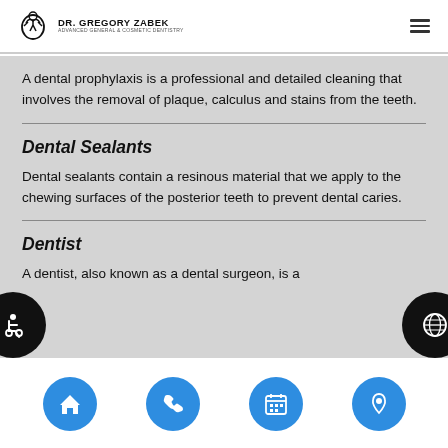DR. GREGORY ZABEK — ADVANCED GENERAL & COSMETIC DENTISTRY
A dental prophylaxis is a professional and detailed cleaning that involves the removal of plaque, calculus and stains from the teeth.
Dental Sealants
Dental sealants contain a resinous material that we apply to the chewing surfaces of the posterior teeth to prevent dental caries.
Dentist
A dentist, also known as a dental surgeon, is a